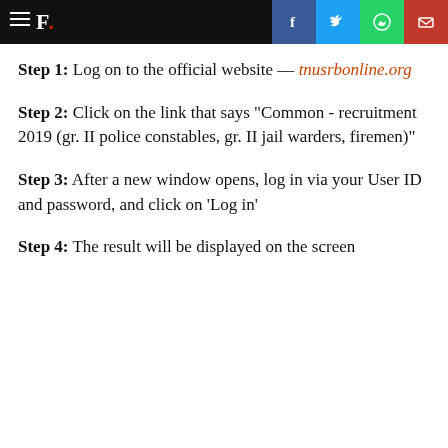F. [social icons: Facebook, Twitter, WhatsApp, Email]
Step 1: Log on to the official website — tnusrbonline.org
Step 2: Click on the link that says "Common - recruitment 2019 (gr. II police constables, gr. II jail warders, firemen)"
Step 3: After a new window opens, log in via your User ID and password, and click on 'Log in'
Step 4: The result will be displayed on the screen